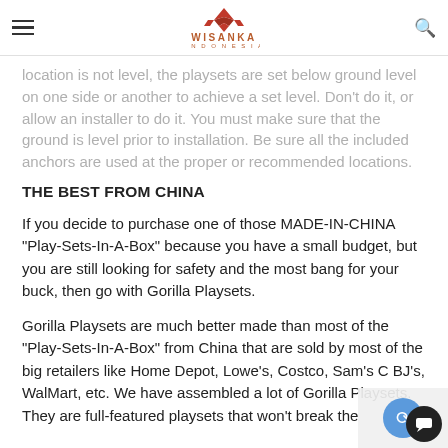WISANKA INDONESIA
location is not level, the playsets are set below ground level on one side or another to achieve a set level. Don't do it, or allow an installer to do it. You must make sure that the ground is level prior to installation. Be sure all the included anchors are used at the proper or recommended locations.
THE BEST FROM CHINA
If you decide to purchase one of those MADE-IN-CHINA "Play-Sets-In-A-Box" because you have a small budget, but you are still looking for safety and the most bang for your buck, then go with Gorilla Playsets.
Gorilla Playsets are much better made than most of the "Play-Sets-In-A-Box" from China that are sold by most of the big retailers like Home Depot, Lowe's, Costco, Sam's C BJ's, WalMart, etc. We have assembled a lot of Gorilla Playsets. They are full-featured playsets that won't break the